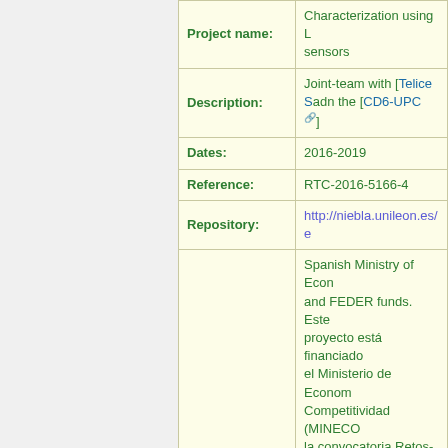| Field | Value |
| --- | --- |
| Project name: | Characterization using [...] sensors |
| Description: | Joint-team with [Telice S...] adn the [CD6-UPC] |
| Dates: | 2016-2019 |
| Reference: | RTC-2016-5166-4 |
| Repository: | http://niebla.unileon.es/... |
| Funding: | Spanish Ministry of Econ... and FEDER funds. Este proyecto está financiado el Ministerio de Econom... Competitividad (MINECO... la convocatoria Retos-Colaboración del progra... estatal de Investigación, Desarrollo e Innovación... |